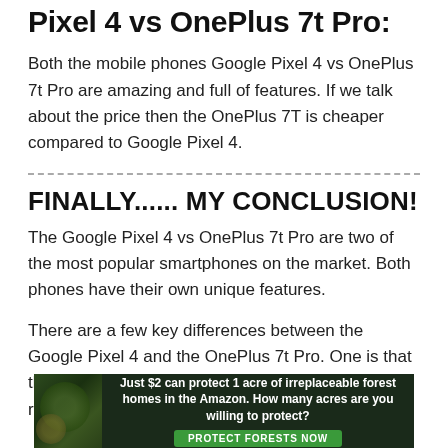Pixel 4 vs OnePlus 7t Pro:
Both the mobile phones Google Pixel 4 vs OnePlus 7t Pro are amazing and full of features. If we talk about the price then the OnePlus 7T is cheaper compared to Google Pixel 4.
FINALLY...... MY CONCLUSION!
The Google Pixel 4 vs OnePlus 7t Pro are two of the most popular smartphones on the market. Both phones have their own unique features.
There are a few key differences between the Google Pixel 4 and the OnePlus 7t Pro. One is that the Google Pixel 4 has a better camera. It has two rear cameras, while the OnePlus 7t
[Figure (infographic): Advertisement banner: dark green forest background with text 'Just $2 can protect 1 acre of irreplaceable forest homes in the Amazon. How many acres are you willing to protect?' and a green 'PROTECT FORESTS NOW' button.]